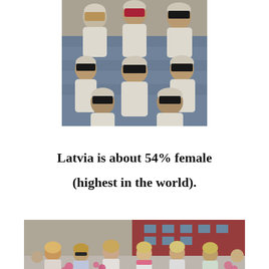[Figure (photo): Group of men in traditional Arab white thobes and headscarves seated in an auditorium or stadium, looking thoughtful or concerned.]
Latvia is about 54% female
(highest in the world).
[Figure (photo): Group of women outdoors, many with blonde hair, some holding pink flowers, with a red brick building in the background.]